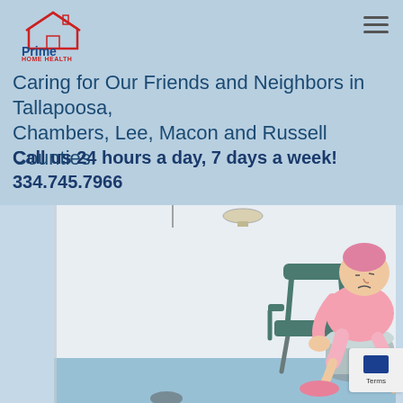[Figure (logo): Prime Home Health logo with house icon in red and blue, company name in blue and red text]
Caring for Our Friends and Neighbors in Tallapoosa, Chambers, Lee, Macon and Russell Counties!
Call us 24 hours a day, 7 days a week! 334.745.7966
[Figure (illustration): Cartoon illustration of an elderly woman in pink clothes with pink hair, sitting on a toilet with a grab bar chair beside her, in a bathroom setting]